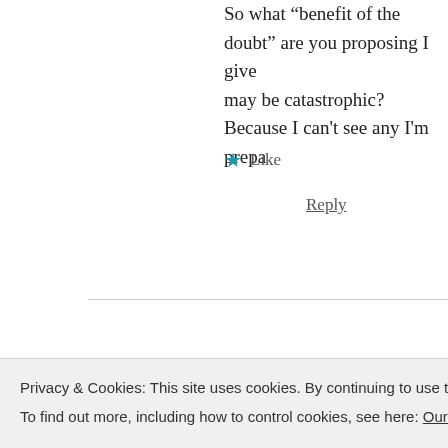So what “benefit of the doubt” are you proposing I give to something that may be catastrophic? Because I can’t see any I’m prepa
Like
Reply
TinyCO2 says:
January 8, 2015 at 1:31 pm
ATTP, it’s absolutely true that policy should not affect the way round. If all you want is a tick in a box then curren However the greater the policy changes you demand th science. Action is a measure of whether the science is c
Privacy & Cookies: This site uses cookies. By continuing to use this website, you agree to their use.
To find out more, including how to control cookies, see here: Our Cookie Policy
Close and accept